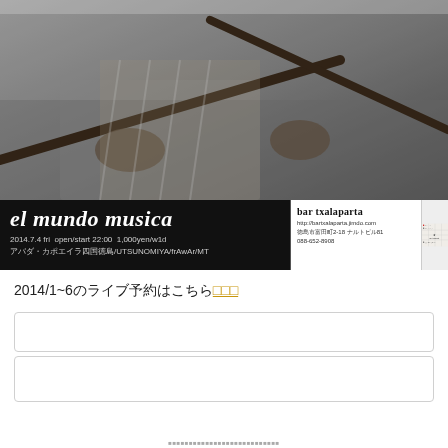[Figure (photo): Black and white photo of a man holding sticks, playing a traditional instrument (txalaparta). Close-up of hands and wooden sticks.]
el mundo musica
2014.7.4 fri  open/start 22:00  1,000yen/w1d
アバダ・カポエイラ四国徳島/UTSUNOMIYA/frAwAr/MT
bar txalaparta
http://bartxalaparta.jimdo.com
徳島市富田町2-18 ナルトビル81
088-652-8908
2014/1~6のライブ予約はこちら
Jimdo